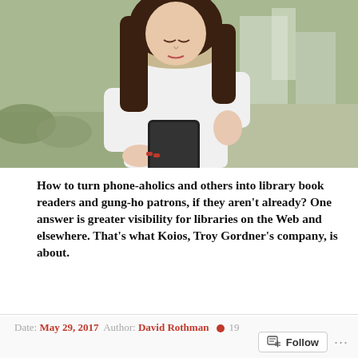[Figure (photo): Young woman with long brown hair looking down at her smartphone, wearing a white jacket with fur collar, outdoors with blurred background]
How to turn phone-aholics and others into library book readers and gung-ho patrons, if they aren't already? One answer is greater visibility for libraries on the Web and elsewhere. That's what Koios, Troy Gordner's company, is about.
Date: May 29, 2017  Author: David Rothman  19